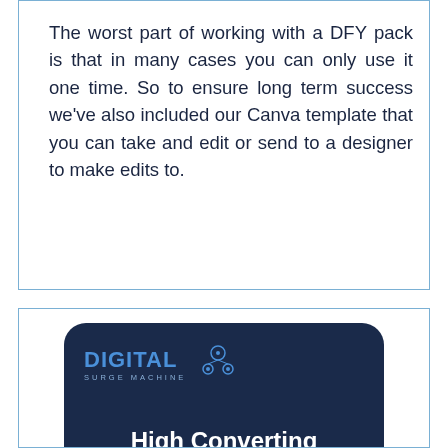The worst part of working with a DFY pack is that in many cases you can only use it one time. So to ensure long term success we've also included our Canva template that you can take and edit or send to a designer to make edits to.
[Figure (screenshot): A tablet/screen device showing the Digital Surge Machine logo and 'High Converting' text on a dark blue background]